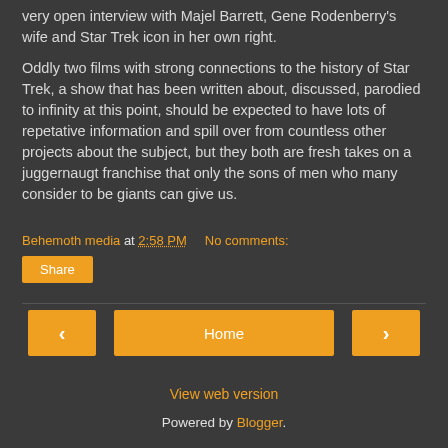very open interview with Majel Barrett, Gene Rodenberry's wife and Star Trek icon in her own right.
Oddly two films with strong connections to the history of Star Trek, a show that has been written about, discussed, parodied to infinity at this point, should be expected to have lots of repetative information and spill over from countless other projects about the subject, but they both are fresh takes on a juggernaugt franchise that only the sons of men who many consider to be giants can give us.
Behemoth media at 2:58 PM   No comments:
Share
‹
Home
›
View web version
Powered by Blogger.